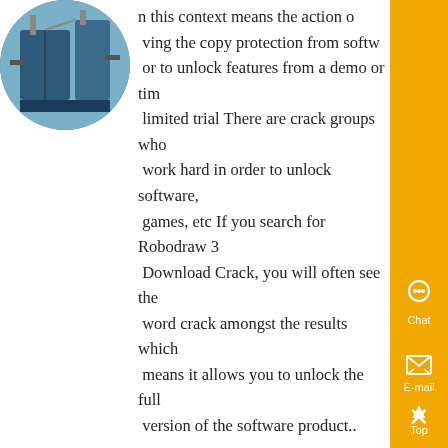[Figure (photo): Circular thumbnail photo of industrial blue dust collector/silo equipment]
n this context means the action o moving the copy protection from softw or to unlock features from a demo or tim limited trial There are crack groups who work hard in order to unlock software, games, etc If you search for Robodraw 3 Download Crack, you will often see the word crack amongst the results which means it allows you to unlock the full version of the software product..
[Figure (photo): Circular thumbnail photo of industrial electric motor with red housing]
Sidewinder Conveyor Design Software v30 - Know More
Sidewinder Conveyor Design Software v Advertisement Advertisement Software to design belt conveyor systems Sidewinder was developed from the ground up using the latest software development tools an